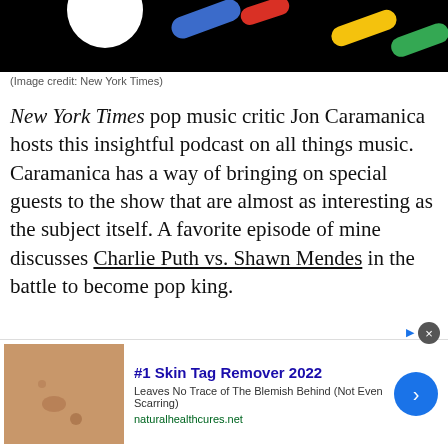[Figure (photo): Partial image at top showing colorful diagonal brush strokes (blue, yellow, red, green) on black background — New York Times branding image]
(Image credit: New York Times)
New York Times pop music critic Jon Caramanica hosts this insightful podcast on all things music. Caramanica has a way of bringing on special guests to the show that are almost as interesting as the subject itself. A favorite episode of mine discusses Charlie Puth vs. Shawn Mendes in the battle to become pop king.
[Figure (photo): Advertisement banner: #1 Skin Tag Remover 2022 — skin close-up photo on left, text and blue arrow button on right. naturalhealthcures.net]